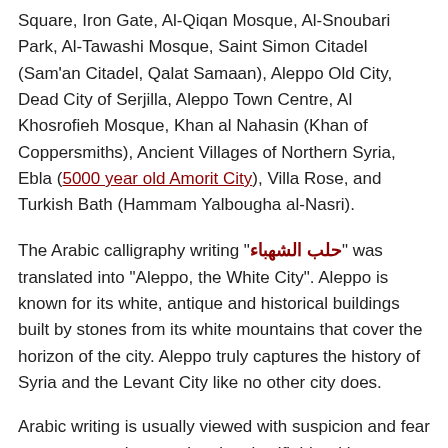Square, Iron Gate, Al-Qiqan Mosque, Al-Snoubari Park, Al-Tawashi Mosque, Saint Simon Citadel (Sam'an Citadel, Qalat Samaan), Aleppo Old City, Dead City of Serjilla, Aleppo Town Centre, Al Khosrofieh Mosque, Khan al Nahasin (Khan of Coppersmiths), Ancient Villages of Northern Syria, Ebla (5000 year old Amorit City), Villa Rose, and Turkish Bath (Hammam Yalbougha al-Nasri).
The Arabic calligraphy writing "حلب الشهباء" was translated into "Aleppo, the White City". Aleppo is known for its white, antique and historical buildings built by stones from its white mountains that cover the horizon of the city. Aleppo truly captures the history of Syria and the Levant City like no other city does.
Arabic writing is usually viewed with suspicion and fear as many people associate it unjustifiably with terrorism. Thus, through showing the beauty of Arabic writing and Arabic calligraphy via printing it on hippie T-shirts, sweatshirts, hoodies, tank tops, mugs, canvas, tote cotton bags, and mouse pads; we hope to change the perception of Arabic writing to understanding and appreciation.